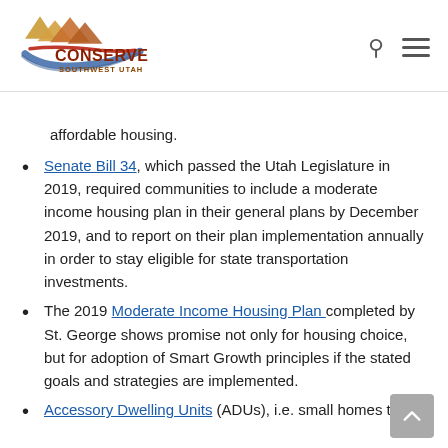[Figure (logo): Conserve Southwest Utah logo with mountain silhouette and swoosh]
affordable housing.
Senate Bill 34, which passed the Utah Legislature in 2019, required communities to include a moderate income housing plan in their general plans by December 2019, and to report on their plan implementation annually in order to stay eligible for state transportation investments.
The 2019 Moderate Income Housing Plan completed by St. George shows promise not only for housing choice, but for adoption of Smart Growth principles if the stated goals and strategies are implemented.
Accessory Dwelling Units (ADUs), i.e. small homes that